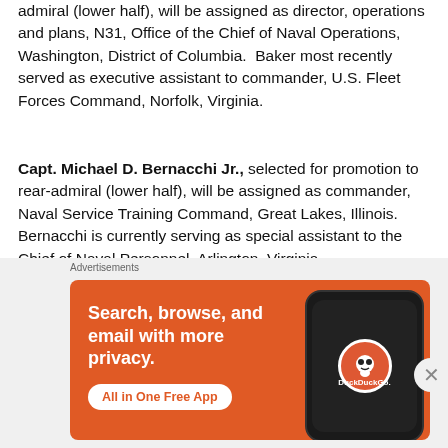admiral (lower half), will be assigned as director, operations and plans, N31, Office of the Chief of Naval Operations, Washington, District of Columbia.  Baker most recently served as executive assistant to commander, U.S. Fleet Forces Command, Norfolk, Virginia.
Capt. Michael D. Bernacchi Jr., selected for promotion to rear-admiral (lower half), will be assigned as commander, Naval Service Training Command, Great Lakes, Illinois.  Bernacchi is currently serving as special assistant to the Chief of Naval Personnel, Arlington, Virginia.
Capt. Frank M. Bradley, selected for promotion to rear-
[Figure (infographic): DuckDuckGo advertisement banner with orange background showing 'Search, browse, and email with more privacy. All in One Free App' with a phone showing the DuckDuckGo logo]